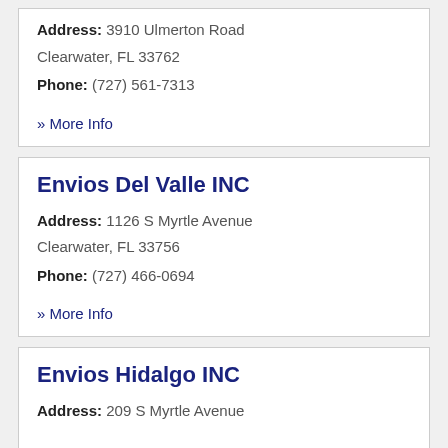Address: 3910 Ulmerton Road Clearwater, FL 33762
Phone: (727) 561-7313
» More Info
Envios Del Valle INC
Address: 1126 S Myrtle Avenue Clearwater, FL 33756
Phone: (727) 466-0694
» More Info
Envios Hidalgo INC
Address: 209 S Myrtle Avenue